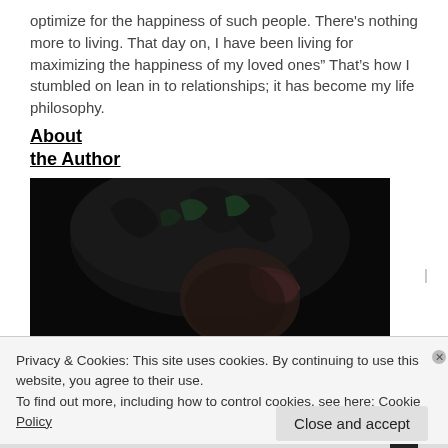optimize for the happiness of such people. There's nothing more to living. That day on, I have been living for maximizing the happiness of my loved ones” That’s how I stumbled on lean in to relationships; it has become my life philosophy.
About the Author
[Figure (photo): Close-up photo of a person with dark curly hair with green and pink highlights, partially visible face against a dark background.]
Privacy & Cookies: This site uses cookies. By continuing to use this website, you agree to their use.
To find out more, including how to control cookies, see here: Cookie Policy
Close and accept